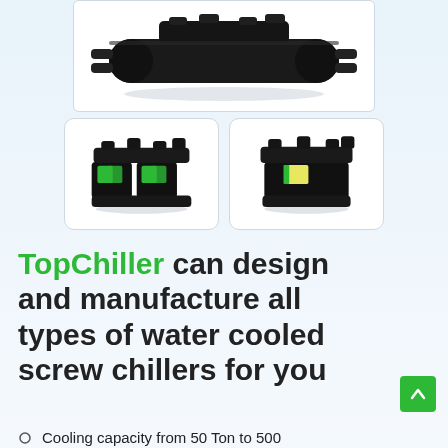[Figure (photo): Large black industrial water-cooled screw chiller unit, viewed from the side, with pipes and connections on a white background]
[Figure (photo): Smaller water-cooled screw chiller unit with green and white control panel, black pipes]
[Figure (photo): Smaller water-cooled screw chiller unit similar to adjacent image, with green label]
TopChiller can design and manufacture all types of water cooled screw chillers for you
Cooling capacity from 50 Ton to 500